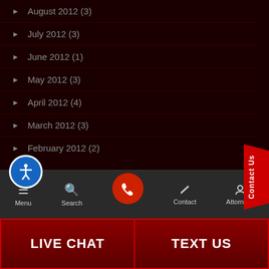August 2012 (3)
July 2012 (3)
June 2012 (1)
May 2012 (3)
April 2012 (4)
March 2012 (3)
February 2012 (2)
Complete Archives
Menu  Search  Contact  Attorneys  LIVE CHAT  TEXT US